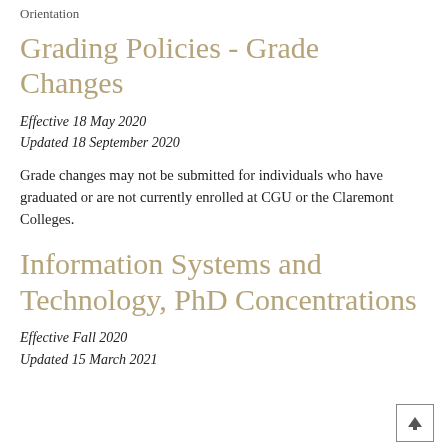Orientation
Grading Policies - Grade Changes
Effective 18 May 2020
Updated 18 September 2020
Grade changes may not be submitted for individuals who have graduated or are not currently enrolled at CGU or the Claremont Colleges.
Information Systems and Technology, PhD Concentrations
Effective Fall 2020
Updated 15 March 2021